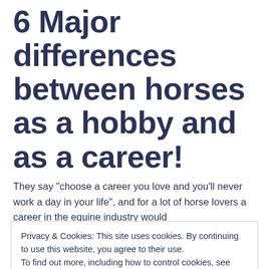6 Major differences between horses as a hobby and as a career!
They say "choose a career you love and you'll never work a day in your life", and for a lot of horse lovers a career in the equine industry would
Privacy & Cookies: This site uses cookies. By continuing to use this website, you agree to their use.
To find out more, including how to control cookies, see here: Cookie Policy
you, but at least the basics about what your